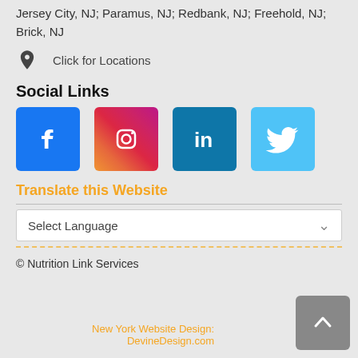Jersey City, NJ; Paramus, NJ; Redbank, NJ; Freehold, NJ; Brick, NJ
Click for Locations
Social Links
[Figure (logo): Facebook, Instagram, LinkedIn, Twitter social media icon buttons]
Translate this Website
Select Language
© Nutrition Link Services
New York Website Design: DevineDesign.com